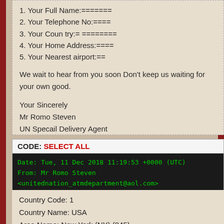1. Your Full Name:=======
2. Your Telephone No:====
3. Your Coun try:= ========
4. Your Home Address:====
5. Your Nearest airport:==
We wait to hear from you soon Don't keep us waiting for your own good.
Your Sincerely
Mr Romo Steven
UN Specail Delivery Agent
CODE: SELECT ALL
Date: Tue, 11 Dec 2018 11:19:53 +0000 (UTC)
From: Mr Romo Steven <unitednation_atmdepartment@aol.com>
Subject: GOOD NEWS FROM UNITED NATION ATM CARD CENTER OFFI
Country Code: 1
Country Name: USA
Area Name: New York (NY) (845)
Exchange Name : Wappingers Falls, Dutchess County (218)
Type: Landline
Original Provider: Bandwidth.com CLEC, LLC - NY
Validity: The number is the correct length for a North American